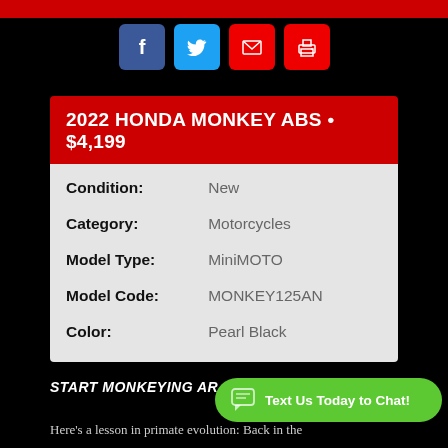[Figure (other): Red horizontal bar at top of page]
[Figure (other): Social sharing icons: Facebook (blue), Twitter (light blue), Email (red), Print (red)]
2022 HONDA MONKEY ABS • $4,199
| Condition: | New |
| Category: | Motorcycles |
| Model Type: | MiniMOTO |
| Model Code: | MONKEY125AN |
| Color: | Pearl Black |
START MONKEYING AR...
Here's a lesson in primate evolution: Back in the
[Figure (other): Green chat button: Text Us Today to Chat!]